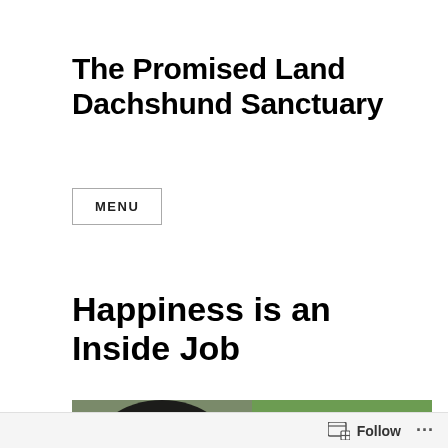The Promised Land Dachshund Sanctuary
MENU
Happiness is an Inside Job
[Figure (photo): Two side-by-side photos of dachshund dogs: left photo shows a close-up of a dark/black dachshund face; right photo shows two dachshunds on grass, one black-and-white carrying a white plastic bottle.]
Follow